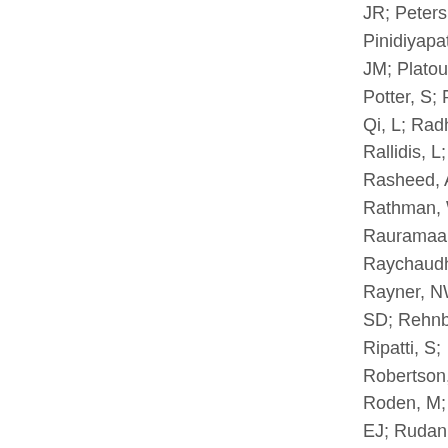JR; Peters, A; Pinidiyapathirage JM; Platou, CG; Potter, S; Price, Qi, L; Radha, V; Rallidis, L; Rasheed, A; Rathman, W; Rauramaa, R; Raychaudhuri, S Rayner, NW; Ree SD; Rehnberg, E Ripatti, S; Robertson, N; Roden, M; Rossi EJ; Rudan, I; Ryb D; Saaristo, TE; Salomaa, V; Saltevo, J; Samu M; Sanghera, DK